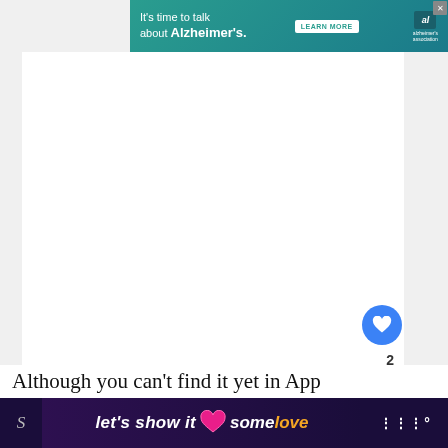[Figure (infographic): Alzheimer's Association advertisement banner: teal/green background with text 'It's time to talk about Alzheimer's.' and 'LEARN MORE' button, logo in top right, close X button]
[Figure (infographic): White page main content area with social interaction buttons: blue heart/like button, number 2 below it, share button with plus icon]
[Figure (infographic): What's Next widget with thumbnail image and text '3 Easy Ways To Install 3r...' with arrow]
Although you can't find it yet in App
[Figure (infographic): Bottom advertisement banner with dark purple background and text 'let's show it some love' with pink heart icon, orange 'love' text, and mute icon on right]